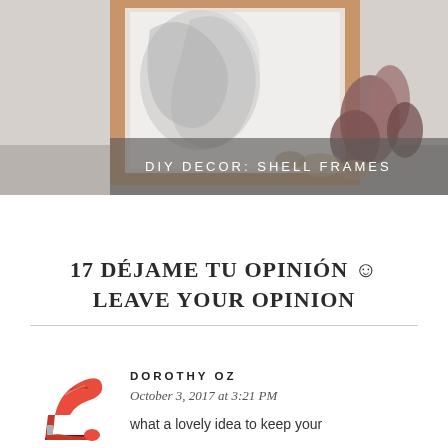[Figure (photo): Photo of a wooden picture frame with a black and white image, decorated with shells and stones, placed on a surface. A semi-transparent gray banner overlay reads 'DIY DECOR: SHELL FRAMES'.]
17 DÉJAME TU OPINIÓN ☺ LEAVE YOUR OPINION
DOROTHY OZ
October 3, 2017 at 3:21 PM
what a lovely idea to keep your